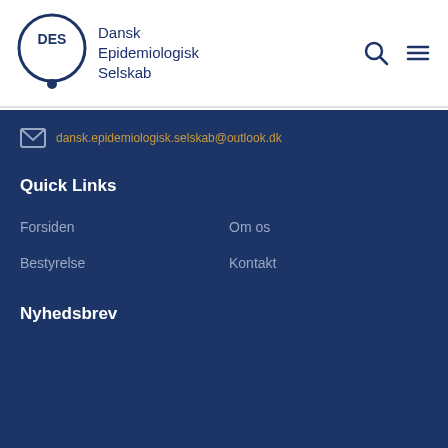[Figure (logo): DES (Dansk Epidemiologisk Selskab) logo with circle and text]
dansk.epidemiologisk.selskab@outlook.dk
Quick Links
Forsiden
Om os
Bestyrelse
Kontakt
Nyhedsbrev